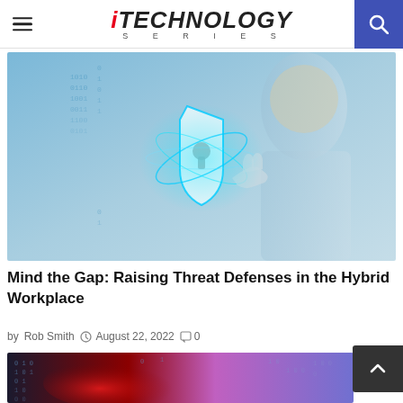iTECHNOLOGY SERIES
[Figure (illustration): Cybersecurity themed image: a robotic hand touching a glowing digital shield with a keyhole, surrounded by binary code falling, and a blurred person in the background. Blue-toned digital scene.]
Mind the Gap: Raising Threat Defenses in the Hybrid Workplace
by Rob Smith  August 22, 2022  0
[Figure (illustration): Cybersecurity themed image with binary code, red and purple light effects, suggesting digital threat or network visualization.]